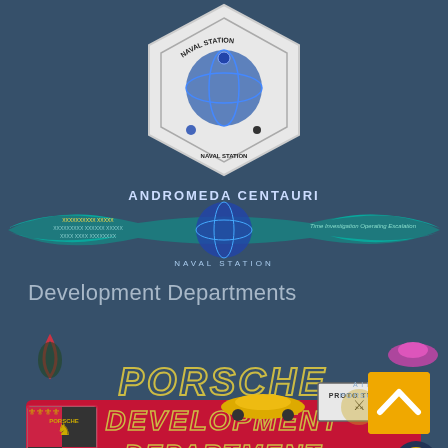[Figure (logo): Andromeda Centauri Naval Station hexagonal emblem/logo at top center of page]
[Figure (logo): Andromeda Centauri Naval Station wide banner with teal wing motif, text reading ANDROMEDA CENTAURI NAVAL STATION and Time Investigation Operating Escalation]
Development Departments
[Figure (logo): Porsche Prototypes Development Department banner with Porsche shield logo, proto-types shield, stylized PORSCHE DEVELOPMENT DEPARTMENT text in red/gold, concept car images, Air Porsche branding, and helmet logo]
[Figure (other): Orange navigation button with upward chevron arrow at bottom right]